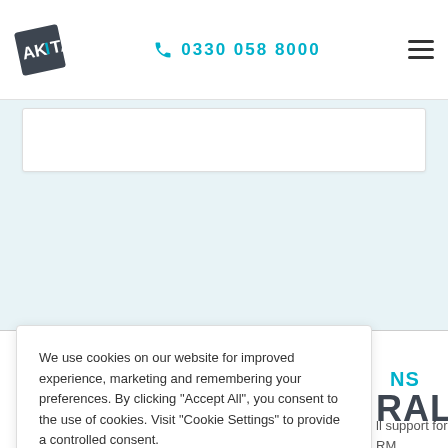AKITA  0330 058 8000
[Figure (screenshot): Website screenshot showing Akita IT company page with cookie consent modal overlay. Header has Akita logo, phone number 0330 058 8000, and hamburger menu. Below is a light blue section with a partial white card. A cookie consent dialog reads: We use cookies on our website for improved experience, marketing and remembering your preferences. By clicking Accept All, you consent to the use of cookies. Visit Cookie Settings to provide a controlled consent. Buttons: Cookie Settings and Accept All. Partial text visible on right: NS, RAL, ll support for RM solutions.]
We use cookies on our website for improved experience, marketing and remembering your preferences. By clicking "Accept All", you consent to the use of cookies. Visit "Cookie Settings" to provide a controlled consent.
Cookie Settings
Accept All